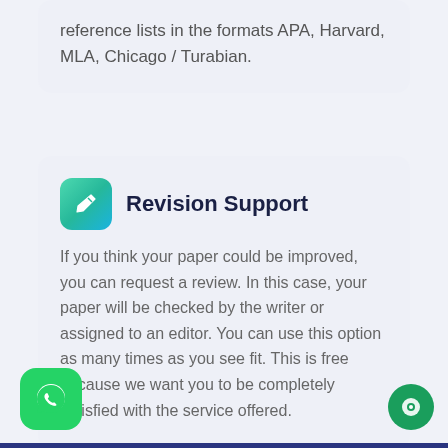reference lists in the formats APA, Harvard, MLA, Chicago / Turabian.
Revision Support
If you think your paper could be improved, you can request a review. In this case, your paper will be checked by the writer or assigned to an editor. You can use this option as many times as you see fit. This is free because we want you to be completely satisfied with the service offered.